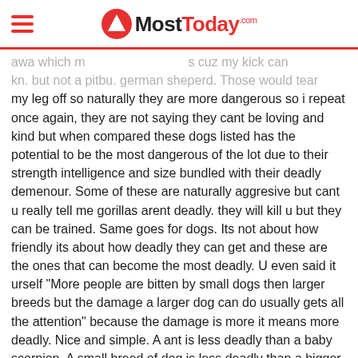MostToday.com
awa which m s cuz my kick can kn but not a pitbu german sheperd. Those would tear my leg off so naturally they are more dangerous so i repeat once again, they are not saying they cant be loving and kind but when compared these dogs listed has the potential to be the most dangerous of the lot due to their strength intelligence and size bundled with their deadly demenour. Some of these are naturally aggresive but cant u really tell me gorillas arent deadly. they will kill u but they can be trained. Same goes for dogs. Its not about how friendly its about how deadly they can get and these are the ones that can become the most deadly. U even said it urself "More people are bitten by small dogs then larger breeds but the damage a larger dog can do usually gets all the attention" because the damage is more it means more deadly. Nice and simple. A ant is less deadly than a baby scorpion. A small breed of dog is less deadly than a bigger breed so even when the small breeds bite more we wont complain about a scratch but we complain about a chewed off limb. So once